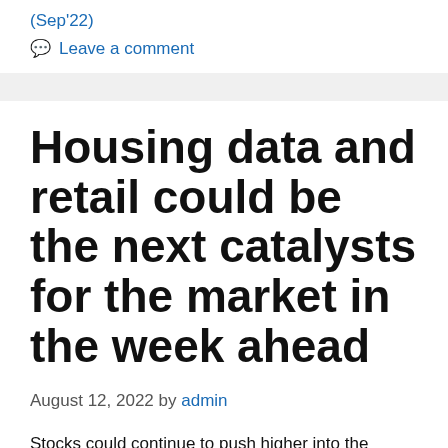(Sep'22)
Leave a comment
Housing data and retail could be the next catalysts for the market in the week ahead
August 12, 2022 by admin
Stocks could continue to push higher into the